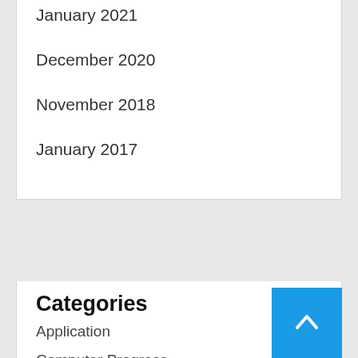January 2021
December 2020
November 2018
January 2017
Categories
Application
Computer Progress
Education
Home Improvement
Social Media